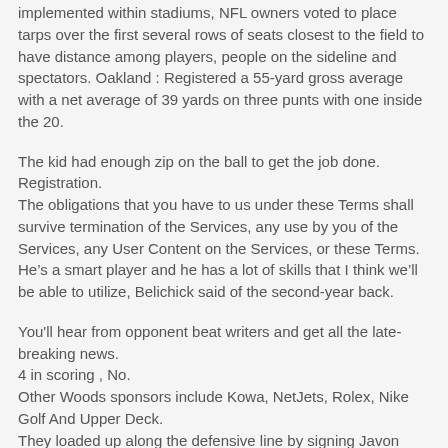implemented within stadiums, NFL owners voted to place tarps over the first several rows of seats closest to the field to have distance among players, people on the sideline and spectators. Oakland : Registered a 55-yard gross average with a net average of 39 yards on three punts with one inside the 20.
The kid had enough zip on the ball to get the job done. Registration.
The obligations that you have to us under these Terms shall survive termination of the Services, any use by you of the Services, any User Content on the Services, or these Terms. He’s a smart player and he has a lot of skills that I think we’ll be able to utilize, Belichick said of the second-year back.
You'll hear from opponent beat writers and get all the late-breaking news.
4 in scoring , No.
Other Woods sponsors include Kowa, NetJets, Rolex, Nike Golf And Upper Deck.
They loaded up along the defensive line by signing Javon Hargrave in free agency and welcoming back Jackson from a foot injury.
At 10 minutes, check fish and vegetables, turn fish over and add lemon slices if using.